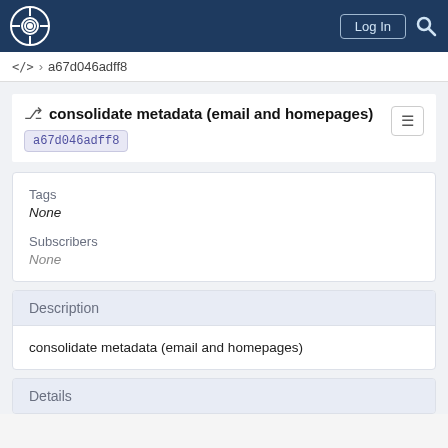Log In [search]
<> > a67d046adff8
consolidate metadata (email and homepages)
a67d046adff8
Tags
None
Subscribers
None
Description
consolidate metadata (email and homepages)
Details